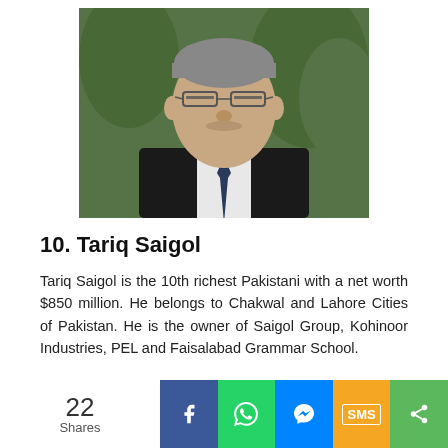[Figure (photo): Portrait photo of Tariq Saigol, an elderly man wearing glasses and a dark suit with a patterned tie, photographed against a green leafy background.]
10. Tariq Saigol
Tariq Saigol is the 10th richest Pakistani with a net worth $850 million. He belongs to Chakwal and Lahore Cities of Pakistan. He is the owner of Saigol Group, Kohinoor Industries, PEL and Faisalabad Grammar School.